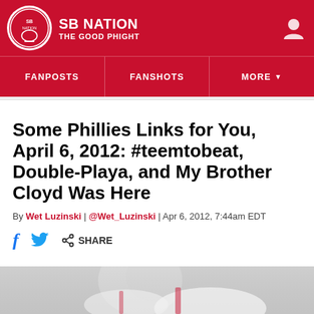SB NATION / THE GOOD PHIGHT
FANPOSTS | FANSHOTS | MORE
Some Phillies Links for You, April 6, 2012: #teemtobeat, Double-Playa, and My Brother Cloyd Was Here
By Wet Luzinski | @Wet_Luzinski | Apr 6, 2012, 7:44am EDT
SHARE